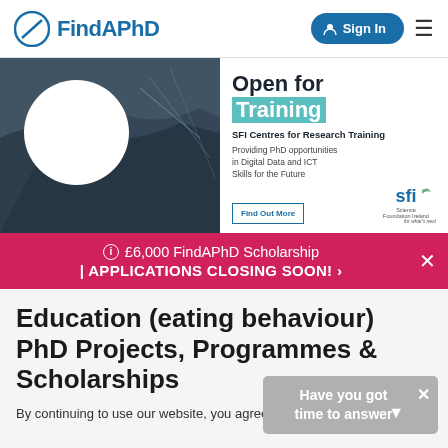[Figure (logo): FindAPhD logo with circular icon and text]
[Figure (infographic): SFI Centres for Research Training banner ad with engineer photo, 'Open for Training' heading, description text, Find Out More button, and SFI logo]
£6,000 FindAPhD Scholarship | APPLICATIONS CLOSING SOON! ›
Education (eating behaviour) PhD Projects, Programmes & Scholarships
By continuing to use our website, you agree to our privacy policy